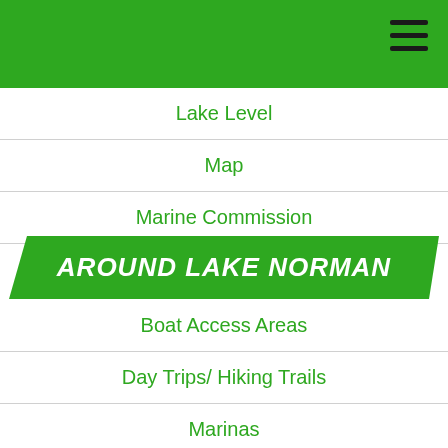Lake Level
Map
Marine Commission
AROUND LAKE NORMAN
Boat Access Areas
Day Trips/ Hiking Trails
Marinas
Swimming
Photo Gallery